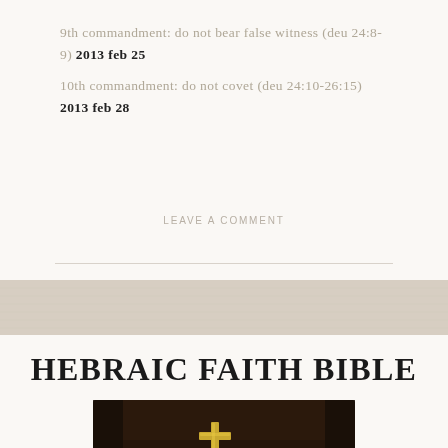9th commandment: do not bear false witness (deu 24:8-9) 2013 feb 25
10th commandment: do not covet (deu 24:10-26:15) 2013 feb 28
LEAVE A COMMENT
HEBRAIC FAITH BIBLE
[Figure (photo): A dark leather Bible with a gold cross emblem on the cover, photographed at an angle on a surface]